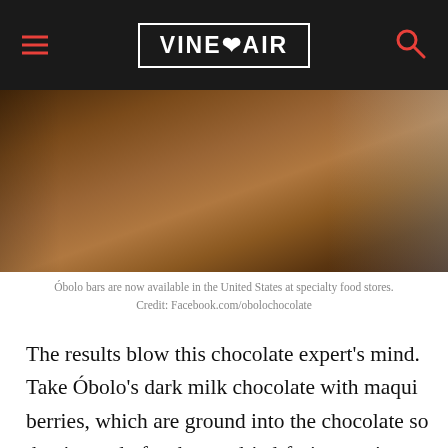VINEPAIR
[Figure (photo): Partial view of chocolate bars on a wooden surface, with a blue package visible in the upper right corner.]
Óbolo bars are now available in the United States at specialty food stores. Credit: Facebook.com/obolochocolate
The results blow this chocolate expert's mind. Take Óbolo's dark milk chocolate with maqui berries, which are ground into the chocolate so that instead of a chewy, dried-fruit experience, you taste long notes of a blueberry-type fruit with the slightest hint of nuttiness. Or the white chocolate with murta berries and a bit of raspberry, which